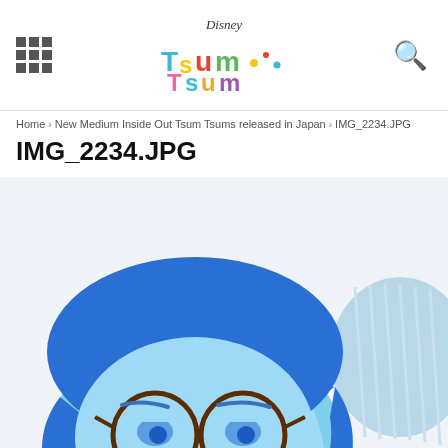Disney Tsum Tsum — navigation header with grid menu icon, Tsum Tsum logo, and search icon
Home › New Medium Inside Out Tsum Tsums released in Japan › IMG_2234.JPG
IMG_2234.JPG
[Figure (photo): Close-up photo of a Sadness Tsum Tsum plush toy from Disney/Pixar Inside Out. The round light-blue plush has dark blue hair covering the top and sides, round dark-outlined glasses, sad drooping blue eyes, and a down-turned expression. Another Tsum Tsum is partially visible on the right edge.]